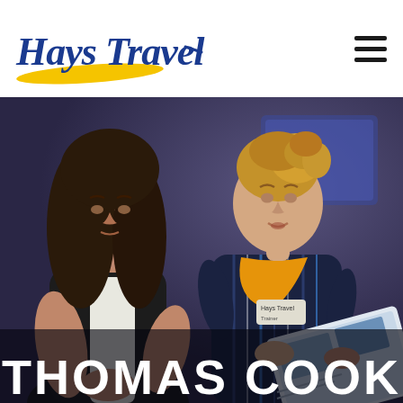[Figure (logo): Hays Travel logo with yellow swoosh and blue italic text]
[Figure (photo): A Hays Travel employee in a navy striped uniform with yellow scarf showing a travel brochure to a customer with long dark hair, in a travel agency setting with purple/blue decor]
THOMAS COOK